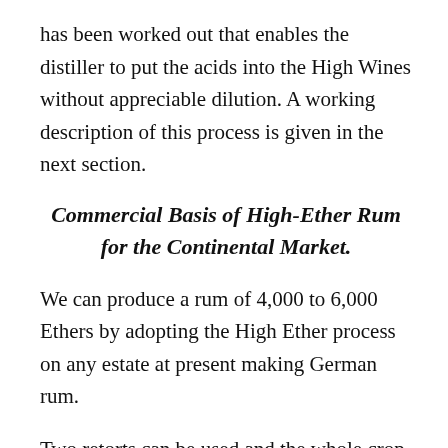has been worked out that enables the distiller to put the acids into the High Wines without appreciable dilution. A working description of this process is given in the next section.
Commercial Basis of High-Ether Rum for the Continental Market.
We can produce a rum of 4,000 to 6,000 Ethers by adopting the High Ether process on any estate at present making German rum.
Two retorts can be used and the whole crop made into one quality instead of having 30% low wine rum as at